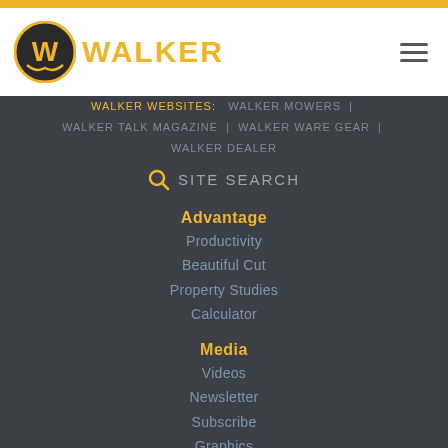[Figure (logo): Walker Mowers logo with circular emblem and WALKER text in gold]
WALKER WEBSITES: WALKER MOWERS | WALKER TALK MAGAZINE | WALKER WARE GEAR | WALKER DEALER
SITE SEARCH
Advantage
Productivity
Beautiful Cut
Property Studies
Calculator
Media
Videos
Newsletter
Subscribe
Graphics
Media Kit